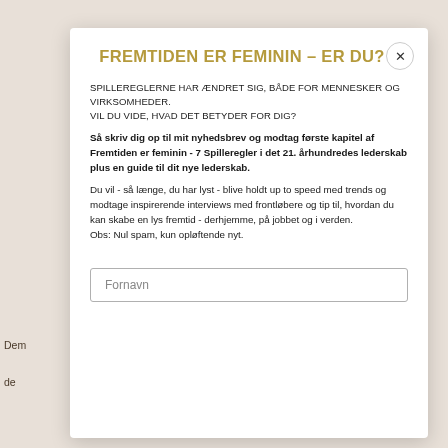FREMTIDEN ER FEMININ – ER DU?
SPILLEREGLERNE HAR ÆNDRET SIG, BÅDE FOR MENNESKER OG VIRKSOMHEDER.
VIL DU VIDE, HVAD DET BETYDER FOR DIG?
Så skriv dig op til mit nyhedsbrev og modtag første kapitel af Fremtiden er feminin - 7 Spilleregler i det 21. århundredes lederskab plus en guide til dit nye lederskab.
Du vil - så længe, du har lyst - blive holdt up to speed med trends og modtage inspirerende interviews med frontløbere og tip til, hvordan du kan skabe en lys fremtid - derhjemme, på jobbet og i verden.
Obs: Nul spam, kun opløftende nyt.
Fornavn